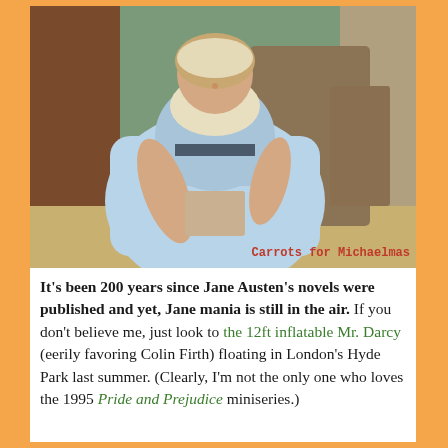[Figure (illustration): A Regency-era painting of a woman in a light blue empire-waist dress with lace collar, seated and holding a book or letter. Watermark text 'Carrots for Michaelmas' appears in bottom right in red monospace font.]
It's been 200 years since Jane Austen's novels were published and yet, Jane mania is still in the air. If you don't believe me, just look to the 12ft inflatable Mr. Darcy (eerily favoring Colin Firth) floating in London's Hyde Park last summer. (Clearly, I'm not the only one who loves the 1995 Pride and Prejudice miniseries.)